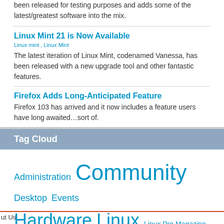been released for testing purposes and adds some of the latest/greatest software into the mix.
Linux Mint 21 is Now Available
Linux mint , Linux Mint
The latest iteration of Linux Mint, codenamed Vanessa, has been released with a new upgrade tool and other fantastic features.
Firefox Adds Long-Anticipated Feature
Firefox 103 has arrived and it now includes a feature users have long awaited…sort of.
Tag Cloud
Administration Community Desktop Events Hardware Linux Linux Pro Magazine Mobile Programming Software Ubuntu Web Development Windows free software open source
ut Us